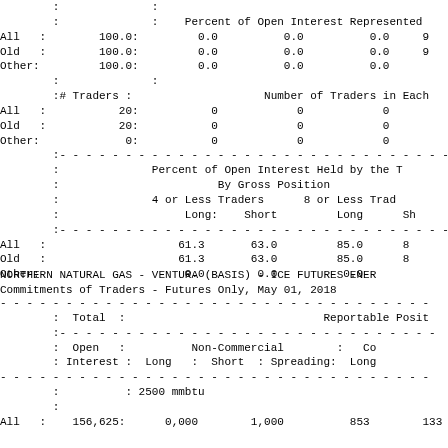|  | : |  | : | Percent of Open Interest Represented |
| All | : | 100.0: | 0.0 | 0.0 | 0.0 | 9 |
| Old | : | 100.0: | 0.0 | 0.0 | 0.0 | 9 |
| Other: |  | 100.0: | 0.0 | 0.0 | 0.0 |  |
|  | : |  | : |  |  |  |
|  | :# Traders : |  |  | Number of Traders in Each |
| All | : | 20: | 0 | 0 | 0 |
| Old | : | 20: | 0 | 0 | 0 |
| Other: |  | 0: | 0 | 0 | 0 |
|  | : | - - - - - - - - - - - - - - - - - - - - - - - - - - - - |
|  | : | Percent of Open Interest Held by the T |
|  | : | By Gross Position |
|  | : | 4 or Less Traders | 8 or Less Trad |
|  | : | Long: | Short | Long | Sh |
|  | : | - - - - - - - - - - - - - - - - - - - - - - - - - - - - |
| All | : | 61.3 | 63.0 | 85.0 | 8 |
| Old | : | 61.3 | 63.0 | 85.0 | 8 |
| Other: |  | 0.0 | 0.0 | 0.0 |
NORTHERN NATURAL GAS - VENTURA (BASIS) - ICE FUTURES ENER
Commitments of Traders - Futures Only, May 01, 2018
|  | : Total : |  | Reportable Posit |
|  | : Open : | Non-Commercial | : | Co |
|  | : Interest : | Long | : | Short | : | Spreading: | Long |
|  | : | : 2500 mmbtu |  |
|  | : |
| All | : | 156,625: | 0,000 | 1,000 | 853 | 133 |